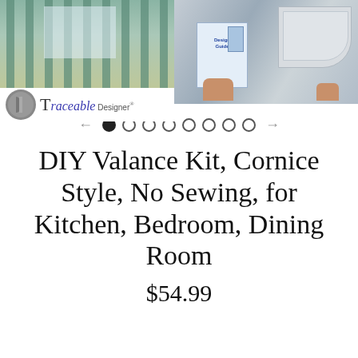[Figure (photo): Left: Photo of striped teal/beige curtains in front of a window. Below it: Traceable Designer logo with gray circle and purple/navy italic text. Right: Photo of a design kit with a Design Guide booklet and white curved cornice piece, with hands holding the kit.]
[Figure (other): Navigation dots with left and right arrows. One filled dot followed by seven empty dots.]
DIY Valance Kit, Cornice Style, No Sewing, for Kitchen, Bedroom, Dining Room
$54.99